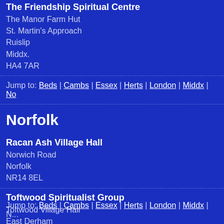The Friendship Spiritual Centre
The Manor Farm Hut
St. Martin's Approach
Ruislip
Middx.
HA4 7AR
Jump to: Beds | Cambs | Essex | Herts | London | Middx | No...
Norfolk
Racan Ash Village Hall
Norwich Road
Norfolk
NR14 8EL
Toftwood Spiritualist Group
Toftwood Village Hall
East Derham
Norfolk
NR19 1JL
Jump to: Beds | Cambs | Essex | Herts | London | Middx | N...